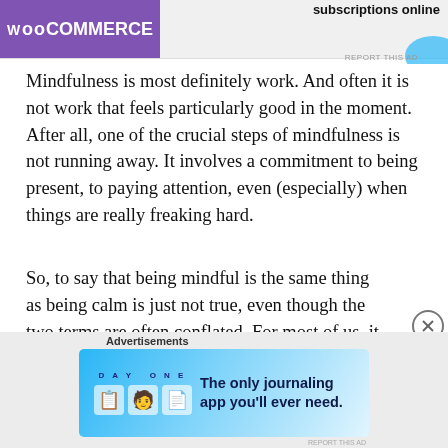[Figure (screenshot): WooCommerce advertisement banner at top with purple logo and 'subscriptions online' text]
Mindfulness is most definitely work. And often it is not work that feels particularly good in the moment. After all, one of the crucial steps of mindfulness is not running away. It involves a commitment to being present, to paying attention, even (especially) when things are really freaking hard.
So, to say that being mindful is the same thing as being calm is just not true, even though the two terms are often conflated. For most of us, it is easier to be mindful when we are calm because calmness by definition feels good. It is pleasant to notice how your body and mind
[Figure (screenshot): Day One journaling app advertisement: 'The only journaling app you'll ever need.']